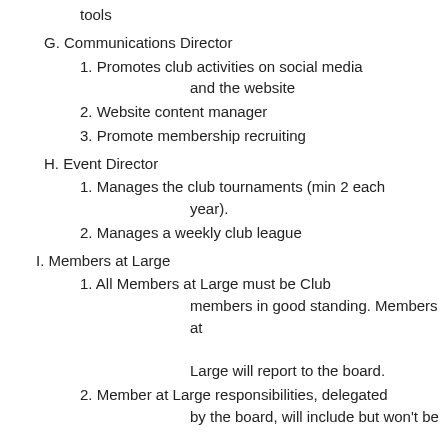tools
G. Communications Director
1. Promotes club activities on social media and the website
2. Website content manager
3. Promote membership recruiting
H. Event Director
1. Manages the club tournaments (min 2 each year).
2. Manages a weekly club league
I. Members at Large
1. All Members at Large must be Club members in good standing. Members at Large will report to the board.
2. Member at Large responsibilities, delegated by the board, will include but won't be limited to:
a. weekly event organization,